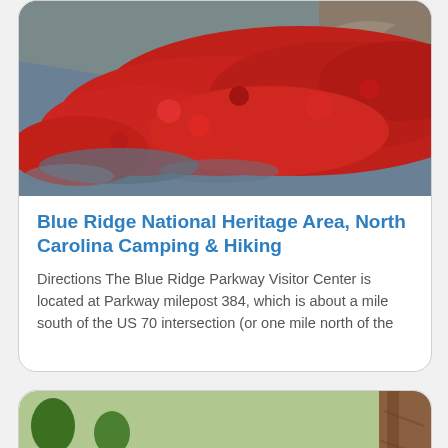[Figure (photo): Aerial-like photo of brilliant red ground cover plants alongside a blue-grey body of water, with rocky shoreline in background]
Blue Ridge National Heritage Area, North Carolina Camping & Hiking
Directions The Blue Ridge Parkway Visitor Center is located at Parkway milepost 384, which is about a mile south of the US 70 intersection (or one mile north of the
[Figure (photo): Campsite photo showing a paved path, grassy area, picnic table, fire ring, a brown post with the number 40, and a large tree trunk on the right]